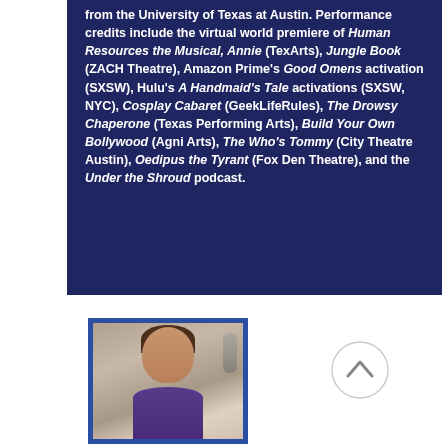from the University of Texas at Austin. Performance credits include the virtual world premiere of Human Resources the Musical, Annie (TexArts), Jungle Book (ZACH Theatre), Amazon Prime's Good Omens activation (SXSW), Hulu's A Handmaid's Tale activations (SXSW, NYC), Cosplay Cabaret (GeekLifeRules), The Drowsy Chaperone (Texas Performing Arts), Build Your Own Bollywood (Agni Arts), The Who's Tommy (City Theatre Austin), Oedipus the Tyrant (Fox Den Theatre), and the Under the Shroud podcast.
[Figure (photo): Headshot photo of a person with dark hair smiling, inside a blue frame border, with a microphone visible in the background]
[Figure (other): A circular button with an upward-pointing chevron/caret arrow icon]